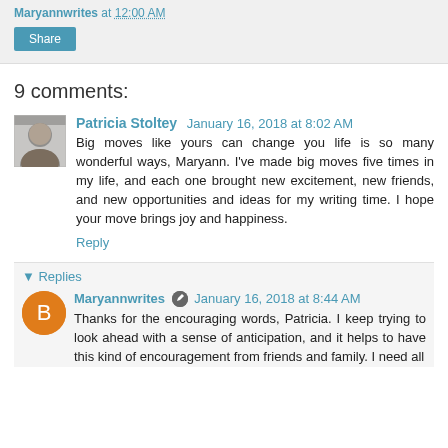Maryannwrites at 12:00 AM
Share
9 comments:
Patricia Stoltey  January 16, 2018 at 8:02 AM
Big moves like yours can change you life is so many wonderful ways, Maryann. I've made big moves five times in my life, and each one brought new excitement, new friends, and new opportunities and ideas for my writing time. I hope your move brings joy and happiness.
Reply
▾ Replies
Maryannwrites  January 16, 2018 at 8:44 AM
Thanks for the encouraging words, Patricia. I keep trying to look ahead with a sense of anticipation, and it helps to have this kind of encouragement from friends and family. I need all